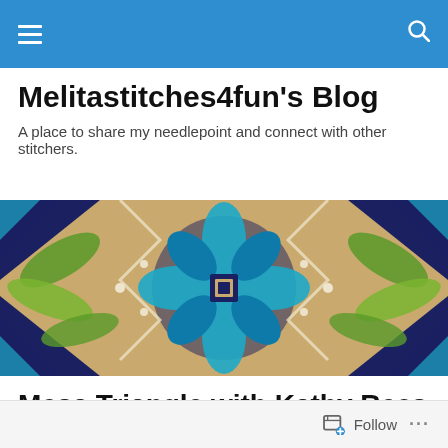Navigation bar with menu and search icons
Melitastitches4fun's Blog
A place to share my needlepoint and connect with other stitchers.
[Figure (photo): Close-up photo of a colorful needlepoint canvas showing a geometric floral pattern in blue, teal, green, and white threads on a tan canvas background.]
Mesa Triangle with Kathy Rees
Follow  ...